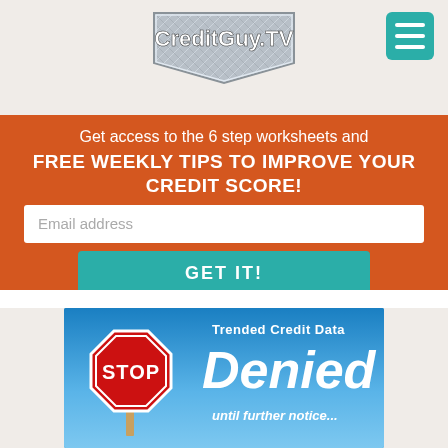[Figure (logo): CreditGuy.TV logo on metallic diamond-plate badge]
[Figure (infographic): Hamburger menu icon (three horizontal white lines on teal square background)]
Get access to the 6 step worksheets and FREE WEEKLY TIPS TO IMPROVE YOUR CREDIT SCORE!
Email address
GET IT!
[Figure (illustration): Stop sign next to large text reading 'Trended Credit Data Denied until further notice...' against a blue sky background]